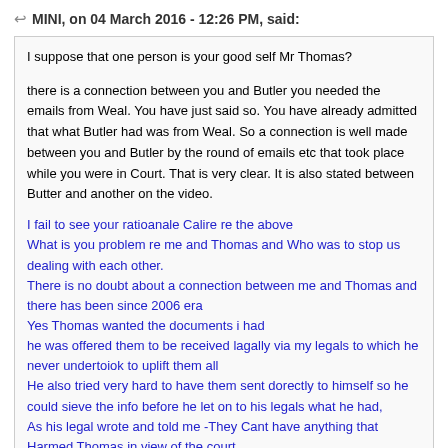MINI, on 04 March 2016 - 12:26 PM, said:
I suppose that one person is your good self Mr Thomas?
there is a connection between you and Butler you needed the emails from Weal. You have just said so. You have already admitted that what Butler had was from Weal. So a connection is well made between you and Butler by the round of emails etc that took place while you were in Court. That is very clear. It is also stated between Butter and another on the video.
I fail to see your ratioanale Calire re the above
What is you problem re me and Thomas and Who was to stop us dealing with each other.
There is no doubt about a connection between me and Thomas and there has been since 2006 era
Yes Thomas wanted the documents i had
he was offered them to be received lagally via my legals to which he never undertoiok to uplift them all
He also tried very hard to have them sent dorectly to himself so he could sieve the info before he let on to his legals what he had,
As his legal wrote and told me -They Cant have anything that Harmed Thomas in view of the court.
he wanted badly to go thru everything / demanded immediate possession